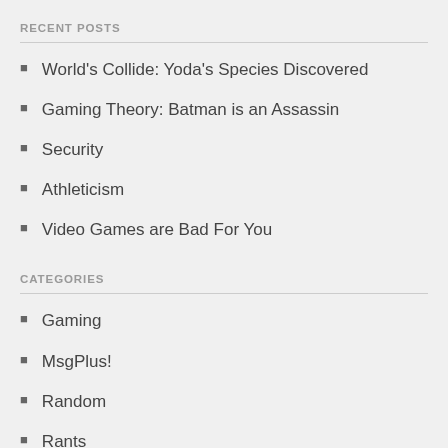RECENT POSTS
World's Collide: Yoda's Species Discovered
Gaming Theory: Batman is an Assassin
Security
Athleticism
Video Games are Bad For You
CATEGORIES
Gaming
MsgPlus!
Random
Rants
Scripts
The Real World
Theories